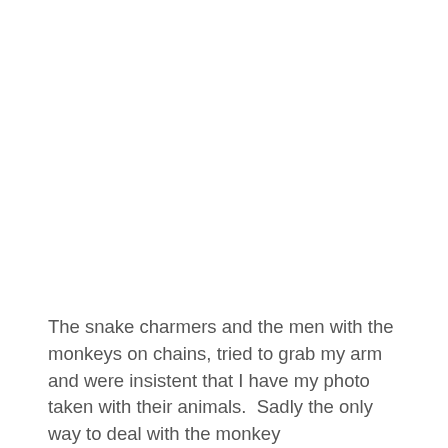The snake charmers and the men with the monkeys on chains, tried to grab my arm and were insistent that I have my photo taken with their animals.  Sadly the only way to deal with the monkey